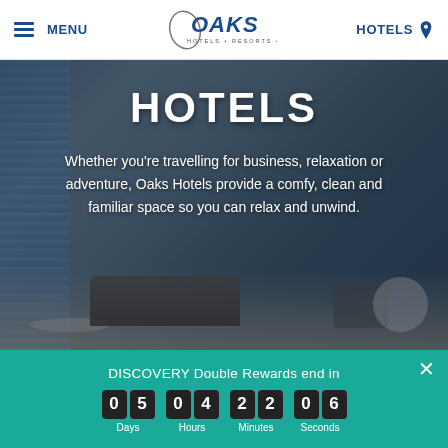MENU | OAKS Hotels Resorts Suites | HOTELS
[Figure (photo): Hotel interior showing a modern living room with sofa, staircase, and large windows with blinds. Overlay text reads HOTELS and a description paragraph.]
HOTELS
Whether you're travelling for business, relaxation or adventure, Oaks Hotels provide a comfy, clean and familiar space so you can relax and unwind.
DISCOVERY Double Rewards end in
0 5   0 4   2 2   0 6
Days  Hours  Minutes  Seconds